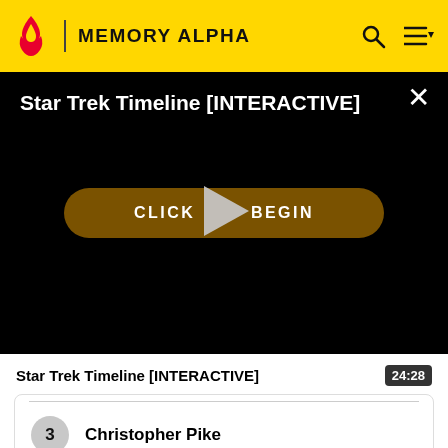MEMORY ALPHA
[Figure (screenshot): Video player showing 'Star Trek Timeline [INTERACTIVE]' with a black background, a 'CLICK TO BEGIN' button partially obscured by a play triangle, and a close (×) button in the top right.]
Star Trek Timeline [INTERACTIVE]  24:28
3  Christopher Pike